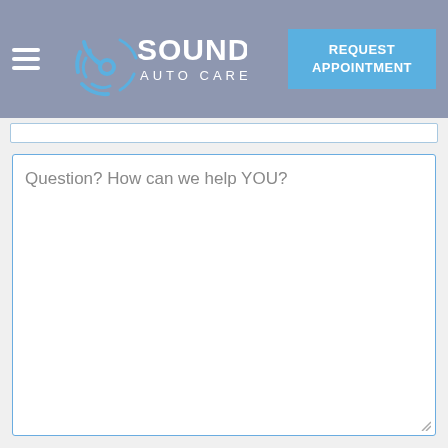Sound Auto Care – REQUEST APPOINTMENT
[Figure (logo): Sound Auto Care logo with circular gear/sound wave icon in blue and white, company name in white text]
Question? How can we help YOU?